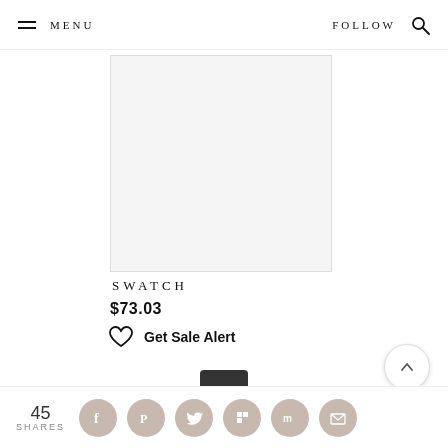MENU  FOLLOW
[Figure (photo): Product image placeholder for Swatch watch — white/light gray product photo area]
SWATCH
$73.03
Get Sale Alert
[Figure (photo): Partial view of a dark-colored Swatch watch face/bezel at the bottom of the page]
45 SHARES  [Facebook] [Pinterest] [Twitter] [Flipboard] [Mix] [Email]